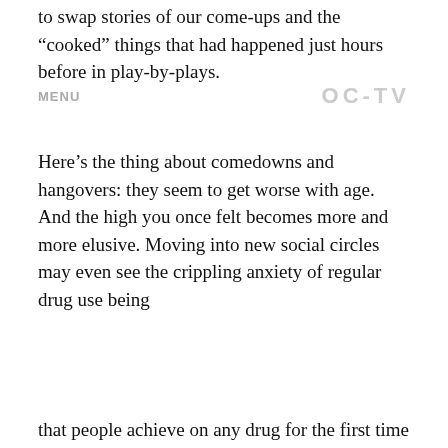to swap stories of our come-ups and the “cooked” things that had happened just hours before in play-by-plays.
MENU | OC-TV
Here’s the thing about comedowns and hangovers: they seem to get worse with age. And the high you once felt becomes more and more elusive. Moving into new social circles may even see the crippling anxiety of regular drug use being
This website uses cookies to ensure you get the best experience on our website. Learn more
that people achieve on any drug for the first time